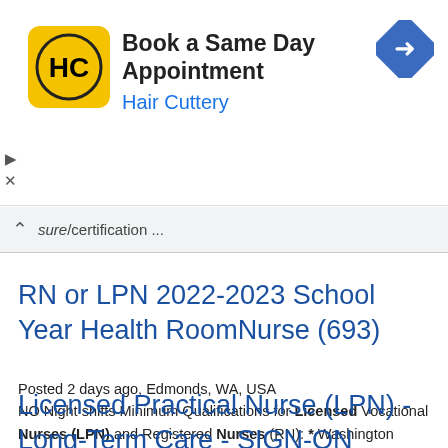[Figure (other): Hair Cuttery advertisement banner with logo, text 'Book a Same Day Appointment', 'Hair Cuttery', and a navigation arrow icon on the right. Ad controls (play/close) on the left side.]
sure/certification ...
RN or LPN 2022-2023 School Year Health RoomNurse (693)
Posted 2 days ago, Edmonds, WA, USA
NO Night shifts Minimum Qualifications for Licensed Vocational Nurses (LPN) and Registered Nurses (RN): * Washington State Nursing License * Current CPR/BLS Card * Current Negative TB Results * New ...
Licensed Practical Nurse (LPN) - Long-Term Care - SIGN-ON BONUS $5,000